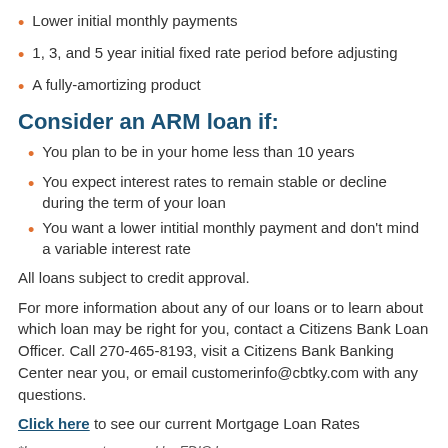Lower initial monthly payments
1, 3, and 5 year initial fixed rate period before adjusting
A fully-amortizing product
Consider an ARM loan if:
You plan to be in your home less than 10 years
You expect interest rates to remain stable or decline during the term of your loan
You want a lower intitial monthly payment and don't mind a variable interest rate
All loans subject to credit approval.
For more information about any of our loans or to learn about which loan may be right for you, contact a Citizens Bank Loan Officer. Call 270-465-8193, visit a Citizens Bank Banking Center near you, or email customerinfo@cbtky.com with any questions.
Click here to see our current Mortgage Loan Rates
*Loans are not covered by FDIC Insurance.